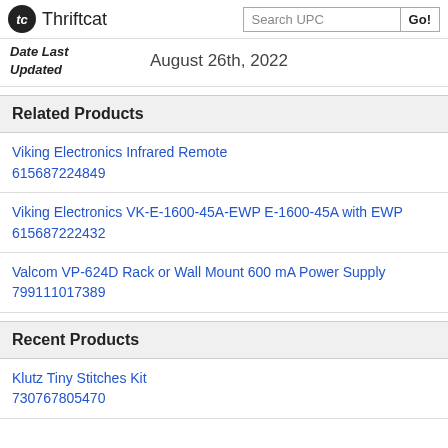Thriftcat | Search UPC | Go!
Date Last Updated   August 26th, 2022
Related Products
Viking Electronics Infrared Remote
615687224849
Viking Electronics VK-E-1600-45A-EWP E-1600-45A with EWP
615687222432
Valcom VP-624D Rack or Wall Mount 600 mA Power Supply
799111017389
Recent Products
Klutz Tiny Stitches Kit
730767805470